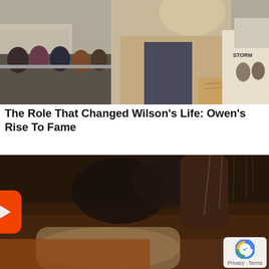[Figure (photo): A man in a tan blazer holding papers, standing at what appears to be a public event with crowds behind a barrier. City street buildings visible in background including a 'Storm' sign.]
The Role That Changed Wilson's Life: Owen's Rise To Fame
[Figure (screenshot): A video thumbnail showing an intimate scene from a movie or TV show, with a YouTube-style play button overlay (red rounded rectangle with white triangle). A reCAPTCHA logo and 'Privacy - Terms' text appear in the bottom right corner.]